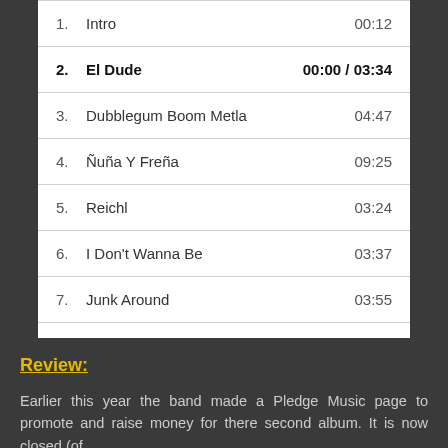| # | Track | Time |
| --- | --- | --- |
| 1. | Intro | 00:12 |
| 2. | El Dude | 00:00 / 03:34 |
| 3. | Dubblegum Boom Metla | 04:47 |
| 4. | Ñuña Y Freña | 09:25 |
| 5. | Reichl | 03:24 |
| 6. | I Don't Wanna Be | 03:37 |
| 7. | Junk Around | 03:55 |
| 8. | Beaux | 09:56 |
| 9. | Outro | 00:14 |
Review:
Earlier this year the band made a Pledge Music page to promote and raise money for there second album. It is now closed (of